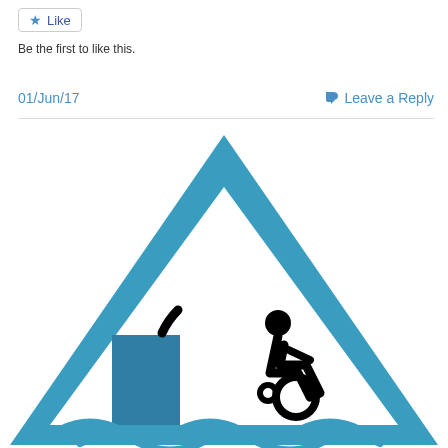★ Like
Be the first to like this.
01/Jun/17
💬 Leave a Reply
[Figure (illustration): A blue triangular warning sign containing an accessibility/wheelchair symbol with a person in a wheelchair, and a stylized wave at the bottom, suggesting a hazard near water for wheelchair users. A dark step/ledge shape is visible inside the triangle.]